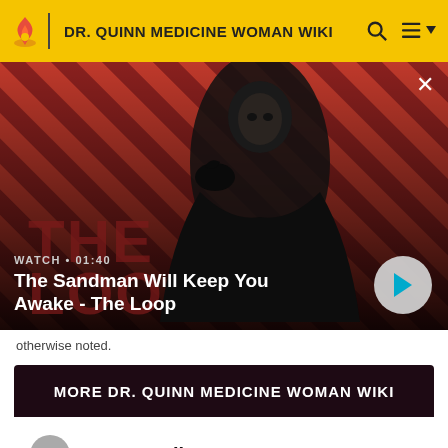DR. QUINN MEDICINE WOMAN WIKI
[Figure (screenshot): Video thumbnail showing a man in dark clothing with a crow on his shoulder against a red and dark diagonal striped background. Text overlay reads 'WATCH • 01:40' and 'The Sandman Will Keep You Awake - The Loop' with a play button.]
otherwise noted.
MORE DR. QUINN MEDICINE WOMAN WIKI
1  Byron Sully